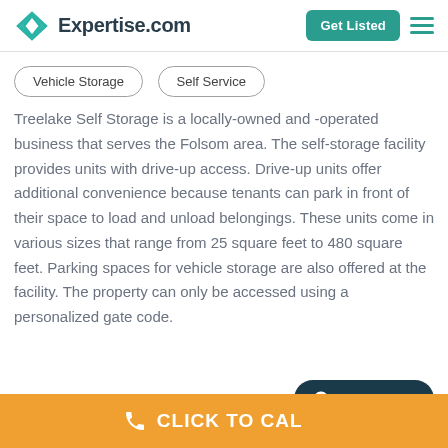Expertise.com
Vehicle Storage
Self Service
Treelake Self Storage is a locally-owned and -operated business that serves the Folsom area. The self-storage facility provides units with drive-up access. Drive-up units offer additional convenience because tenants can park in front of their space to load and unload belongings. These units come in various sizes that range from 25 square feet to 480 square feet. Parking spaces for vehicle storage are also offered at the facility. The property can only be accessed using a personalized gate code.
CLICK TO CALL
For Providers